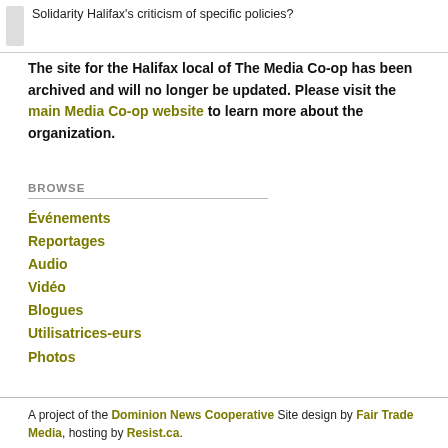Solidarity Halifax's criticism of specific policies?
The site for the Halifax local of The Media Co-op has been archived and will no longer be updated. Please visit the main Media Co-op website to learn more about the organization.
BROWSE
Événements
Reportages
Audio
Vidéo
Blogues
Utilisatrices-eurs
Photos
A project of the Dominion News Cooperative Site design by Fair Trade Media, hosting by Resist.ca.